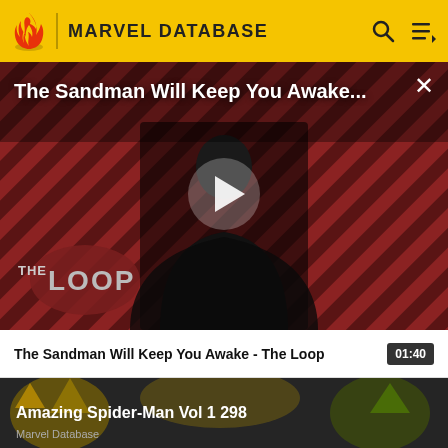MARVEL DATABASE
[Figure (screenshot): Video thumbnail for 'The Sandman Will Keep You Awake - The Loop' showing a figure in black against a red diagonal striped background with The Loop branding. A large play button is centered over the image. Title text overlay reads 'The Sandman Will Keep You Awake...' with a close X button.]
The Sandman Will Keep You Awake - The Loop   01:40
[Figure (screenshot): Bottom card showing Amazing Spider-Man comic art with bold yellow and green imagery. Title reads 'Amazing Spider-Man Vol 1 298' and subtitle reads 'Marvel Database'.]